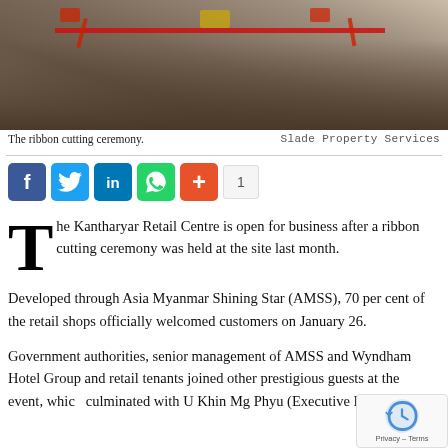[Figure (photo): Ribbon cutting ceremony at Kantharyar Retail Centre, showing group of people cutting a red ribbon outdoors.]
The ribbon cutting ceremony.                    Slade Property Services
[Figure (infographic): Social media sharing buttons: Facebook, Twitter, LinkedIn, WhatsApp, Share (+), and a count of 1]
The Kantharyar Retail Centre is open for business after a ribbon cutting ceremony was held at the site last month.
Developed through Asia Myanmar Shining Star (AMSS), 70 per cent of the retail shops officially welcomed customers on January 26.
Government authorities, senior management of AMSS and Wyndham Hotel Group and retail tenants joined other prestigious guests at the event, which culminated with U Khin Mg Phyu (Executive Director,